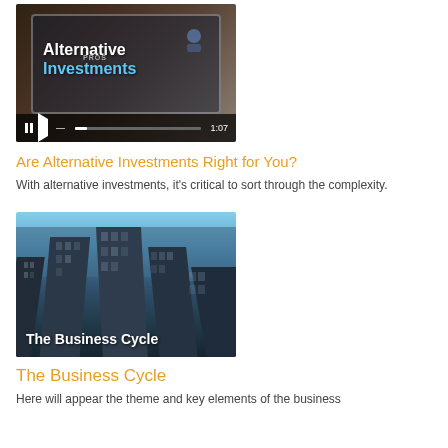[Figure (screenshot): Video thumbnail showing a tablet with 'Alternative Investments' text overlay and video player controls showing 1:07 duration]
Are Alternative Investments Right for You?
With alternative investments, it's critical to sort through the complexity.
[Figure (screenshot): Video thumbnail showing tall city skyscrapers looking up against a blue sky with 'The Business Cycle' text overlay]
The Business Cycle
Here will appear the theme and key elements of the business cycle...